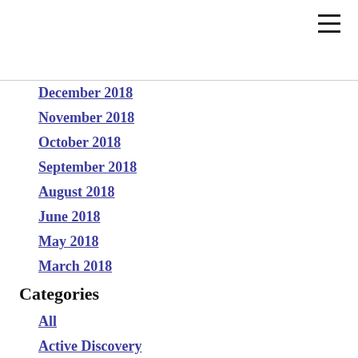[Figure (other): Hamburger menu icon (three horizontal lines) in top-right corner]
December 2018
November 2018
October 2018
September 2018
August 2018
June 2018
May 2018
March 2018
Categories
All
Active Discovery
Adult Only Cruise
Adventure Cruise
Adventures By Disney
Airfare
Air Help